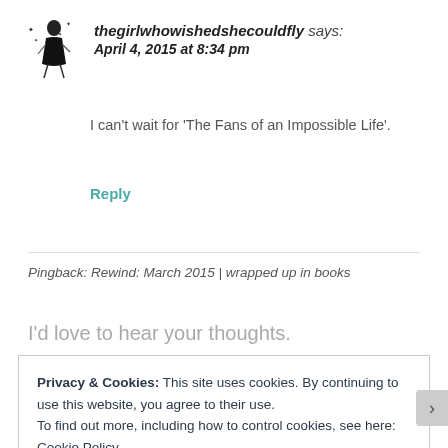thegirlwhowishedshecouldfly says: April 4, 2015 at 8:34 pm
[Figure (illustration): Small cartoon avatar of a girl in a black dress with birds/butterflies around her]
I can't wait for ‘The Fans of an Impossible Life’.
Reply
Pingback: Rewind: March 2015 | wrapped up in books
I'd love to hear your thoughts.
Privacy & Cookies: This site uses cookies. By continuing to use this website, you agree to their use.
To find out more, including how to control cookies, see here: Cookie Policy
Close and accept